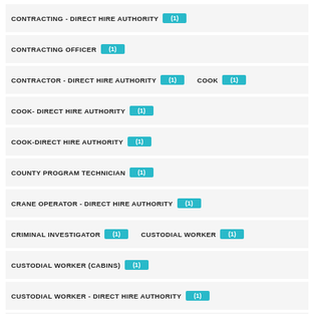CONTRACTING - DIRECT HIRE AUTHORITY (1)
CONTRACTING OFFICER (1)
CONTRACTOR - DIRECT HIRE AUTHORITY (1)   COOK (1)
COOK- DIRECT HIRE AUTHORITY (1)
COOK-DIRECT HIRE AUTHORITY (1)
COUNTY PROGRAM TECHNICIAN (1)
CRANE OPERATOR - DIRECT HIRE AUTHORITY (1)
CRIMINAL INVESTIGATOR (1)   CUSTODIAL WORKER (1)
CUSTODIAL WORKER (CABINS) (1)
CUSTODIAL WORKER - DIRECT HIRE AUTHORITY (1)
CUSTODIAN HIRE RIGHT-HIRE FAST PROGRAM (1)
CUSTOMER SERVICE REPRESENTATIVE (1)
CUSTOMS AND BORDER PROTECTION (1)